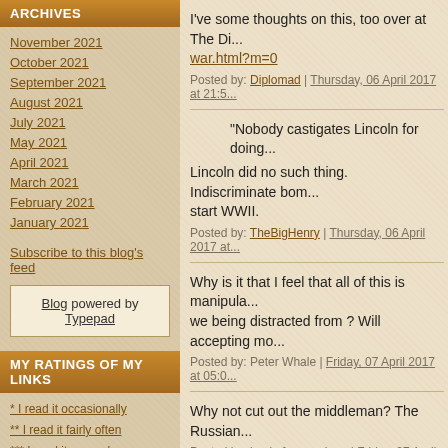ARCHIVES
November 2021
October 2021
September 2021
August 2021
July 2021
May 2021
April 2021
March 2021
February 2021
January 2021
Subscribe to this blog's feed
Blog powered by Typepad
MY RATINGS OF MY LINKS
* I read it occasionally
** I read it fairly often
*** I read it every day
? Content questionable
?? Content very questionable
??? Content mostly garbage
I've some thoughts on this, too over at The Di... war.html?m=0
Posted by: Diplomad | Thursday, 06 April 2017 at 21:5...
"Nobody castigates Lincoln for doing...
Lincoln did no such thing. Indiscriminate bom... start WWII.
Posted by: TheBigHenry | Thursday, 06 April 2017 at...
Why is it that I feel that all of this is manipula... we being distracted from ? Will accepting mo...
Posted by: Peter Whale | Friday, 07 April 2017 at 05:0...
Why not cut out the middleman? The Russian...
Posted by: backofanenvelope | Friday, 07 April 2017 a...
That whole gas attack looked to me like a fals...
I suspect Trump's motives for such a massive...